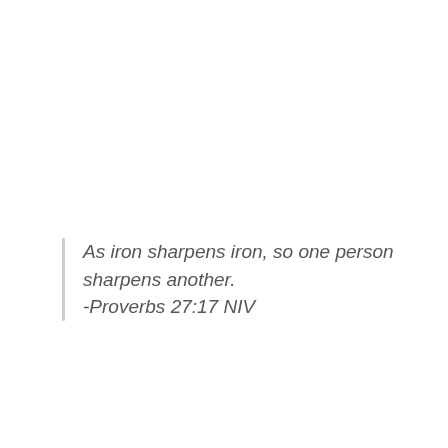As iron sharpens iron, so one person sharpens another.
-Proverbs 27:17 NIV